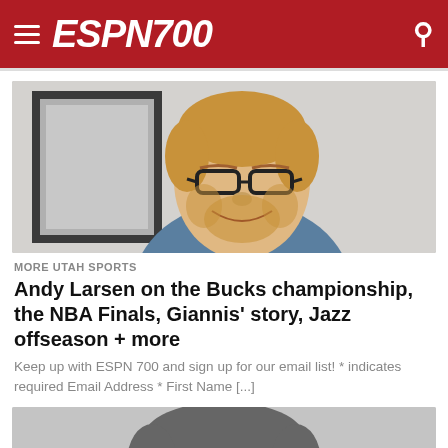ESPN700
[Figure (photo): Headshot of Andy Larsen, a man with short blond hair, glasses, and a beard, smiling in front of a framed picture on a light gray wall.]
MORE UTAH SPORTS
Andy Larsen on the Bucks championship, the NBA Finals, Giannis' story, Jazz offseason + more
Keep up with ESPN 700 and sign up for our email list! * indicates required Email Address * First Name [...]
[Figure (photo): Partial view of a person's head — top of head and hair visible, cropped, black and white or grayscale.]